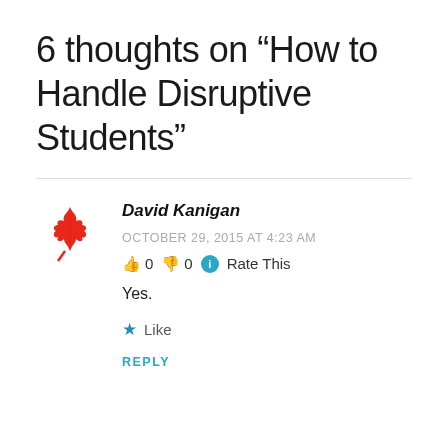6 thoughts on “How to Handle Disruptive Students”
David Kanigan
OCTOBER 29, 2015 AT 4:23 AM
👍 0 👎 0 ℹ Rate This
Yes.
★ Like
REPLY